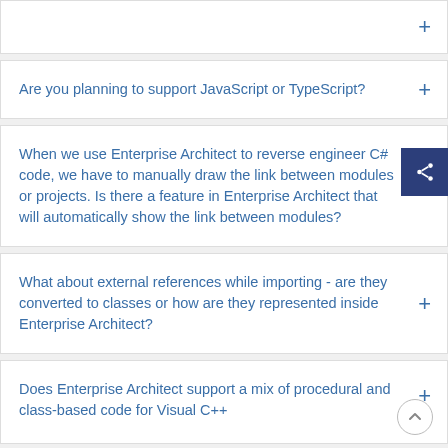(partial top item, truncated)
Are you planning to support JavaScript or TypeScript?
When we use Enterprise Architect to reverse engineer C# code, we have to manually draw the link between modules or projects. Is there a feature in Enterprise Architect that will automatically show the link between modules?
What about external references while importing - are they converted to classes or how are they represented inside Enterprise Architect?
Does Enterprise Architect support a mix of procedural and class-based code for Visual C++